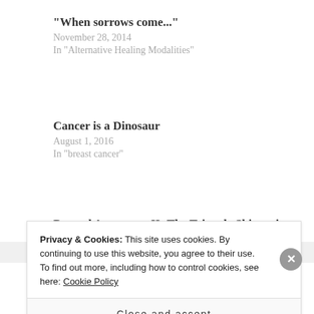“When sorrows come...”
November 28, 2014
In “Alternative Healing Modalities”
Cancer is a Dinosaur
August 1, 2016
In “breast cancer”
Beyond Awareness II- The Triangle Shirtwaist Fire
October 4, 2016
In “breast cancer”
Privacy & Cookies: This site uses cookies. By continuing to use this website, you agree to their use.
To find out more, including how to control cookies, see here: Cookie Policy
Close and accept